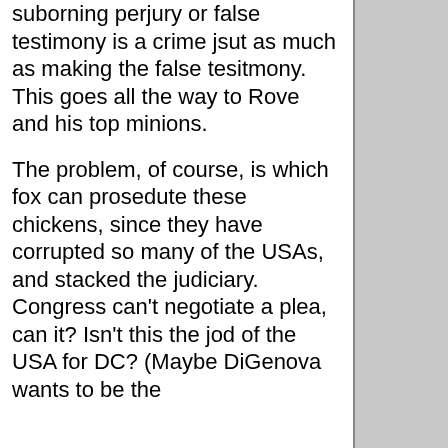suborning perjury or false testimony is a crime jsut as much as making the false tesitmony. This goes all the way to Rove and his top minions.
The problem, of course, is which fox can prosedute these chickens, since they have corrupted so many of the USAs, and stacked the judiciary. Congress can't negotiate a plea, can it? Isn't this the jod of the USA for DC? (Maybe DiGenova wants to be the